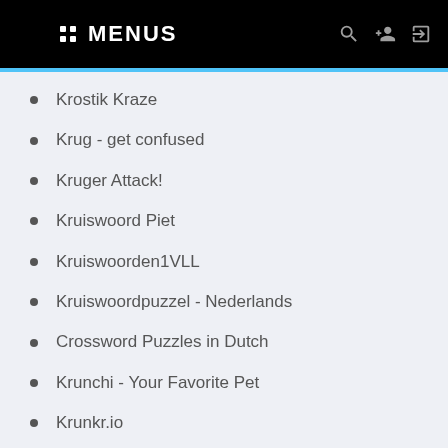:: MENUS
Krostik Kraze
Krug - get confused
Kruger Attack!
Kruiswoord Piet
Kruiswoorden1VLL
Kruiswoordpuzzel - Nederlands
Crossword Puzzles in Dutch
Krunchi - Your Favorite Pet
Krunkr.io
Krupion Kreuzworträtsel